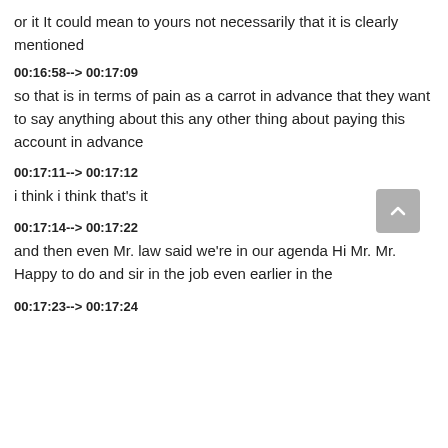or it It could mean to yours not necessarily that it is clearly mentioned
00:16:58--> 00:17:09
so that is in terms of pain as a carrot in advance that they want to say anything about this any other thing about paying this account in advance
00:17:11--> 00:17:12
i think i think that's it
00:17:14--> 00:17:22
and then even Mr. law said we're in our agenda Hi Mr. Mr. Happy to do and sir in the job even earlier in the
00:17:23--> 00:17:24